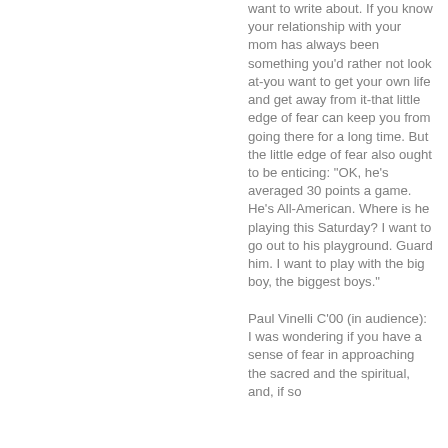want to write about. If you know your relationship with your mom has always been something you'd rather not look at-you want to get your own life and get away from it-that little edge of fear can keep you from going there for a long time. But the little edge of fear also ought to be enticing: "OK, he's averaged 30 points a game. He's All-American. Where is he playing this Saturday? I want to go out to his playground. Guard him. I want to play with the big boy, the biggest boys."
Paul Vinelli C'00 (in audience): I was wondering if you have a sense of fear in approaching the sacred and the spiritual, and, if so